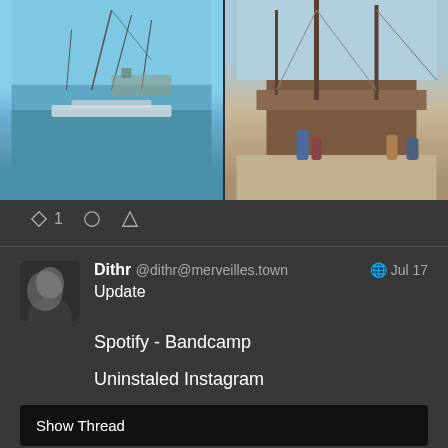[Figure (photo): Two photos side by side: left shows a marina with sailboats and a town in the background under blue sky; right shows a historic tall ship with wooden hull and rigging, with people standing nearby on a dock.]
◇ 1   ○   △
[Figure (photo): Black and white avatar photo of a person]
Dithr @dithr@merveilles.town   🌐 Jul 17
Update

Spotify - Bandcamp

Uninstaled Instagram
Show Thread
◇ 1   ○   △